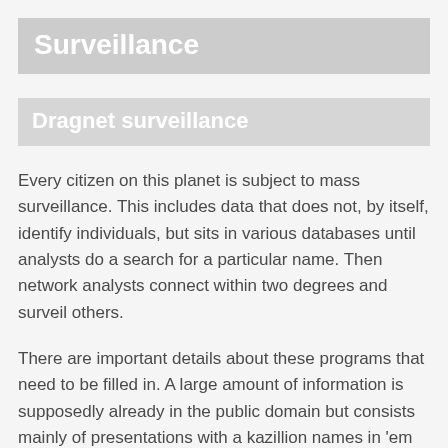Surveillance
Dragnet surveillance
Every citizen on this planet is subject to mass surveillance. This includes data that does not, by itself, identify individuals, but sits in various databases until analysts do a search for a particular name. Then network analysts connect within two degrees and surveil others.
There are important details about these programs that need to be filled in. A large amount of information is supposedly already in the public domain but consists mainly of presentations with a kazillion names in 'em (that can easily be altered). This page attempts to make sense of the spaghetti.